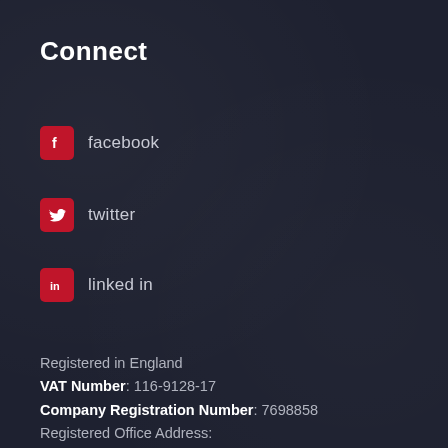Connect
facebook
twitter
linked in
Registered in England
VAT Number: 116-9128-17
Company Registration Number: 7698858
Registered Office Address:
Railview Lofts 19c
Commercial Road
Eastbourne
East Sussex